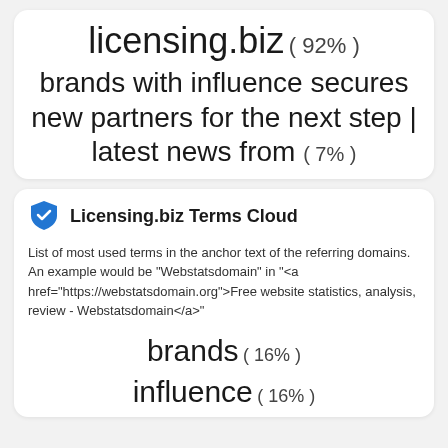[Figure (infographic): Terms cloud card showing 'licensing.biz (92%)' and 'brands with influence secures new partners for the next step | latest news from (7%)']
Licensing.biz Terms Cloud
List of most used terms in the anchor text of the referring domains. An example would be "Webstatsdomain" in "<a href="https://webstatsdomain.org">Free website statistics, analysis, review - Webstatsdomain</a>"
[Figure (infographic): Terms cloud showing 'brands (16%)' and 'influence (16%)']